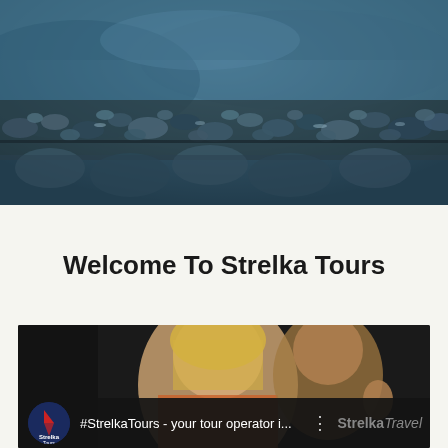[Figure (photo): Close-up macro photo of wet dark blue-gray rocks/pebbles with water, shallow depth of field, blurred background in dark teal-blue tones]
Welcome To Strelka Tours
[Figure (screenshot): YouTube video thumbnail for '#StrelkaTours - your tour operator i...' showing a woman and a man with thumbs up, with Strelka Tours logo circle on left and StrelkaTravel branding on right]